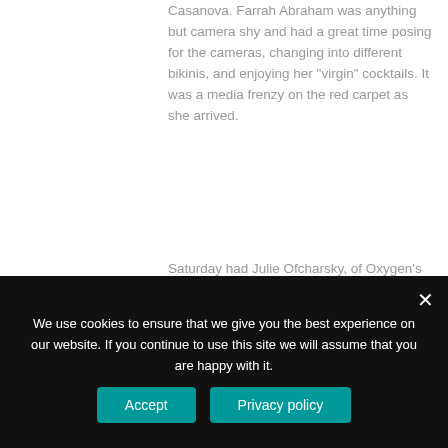Casanova. Farrah Abraham was anything but camera shy and had a great time posing for the cameras, changing into different bikinis, and enjoying her “virgin” cocktails. It was a media frenzy on the red carpet as she arrived.
Saturday had Julie Ofcharsky, of Oxygen’s Bad Girls Club, hosting what has become the traditional Sapphire Pool & Day Club Bikini Contest. DJ Reach provided some booty shaking tunes for the contestants, and the girls definitely brought sexy back.
Father’s Day had Eric Cubeechee on the ones and twos. Groups of four or more got to enjoy
We use cookies to ensure that we give you the best experience on our website. If you continue to use this site we will assume that you are happy with it.